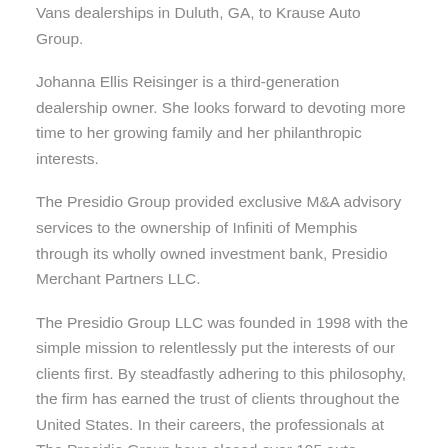Vans dealerships in Duluth, GA, to Krause Auto Group.
Johanna Ellis Reisinger is a third-generation dealership owner. She looks forward to devoting more time to her growing family and her philanthropic interests.
The Presidio Group provided exclusive M&A advisory services to the ownership of Infiniti of Memphis through its wholly owned investment bank, Presidio Merchant Partners LLC.
The Presidio Group LLC was founded in 1998 with the simple mission to relentlessly put the interests of our clients first. By steadfastly adhering to this philosophy, the firm has earned the trust of clients throughout the United States. In their careers, the professionals at The Presidio Group have closed over 195 auto transactions and more than $22 billion in total vehicle...